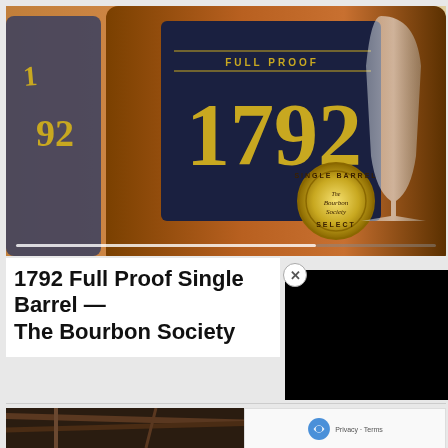[Figure (photo): Close-up photo of a 1792 Full Proof bourbon bottle with a gold Single Barrel Bourbon Society Select medallion sticker, with a glass in the background. A partial second bottle visible on the left with '1792' text.]
1792 Full Proof Single Barrel — The Bourbon Society
[Figure (screenshot): Black overlay panel (video player or popup) with a close/X button in the top-left corner area.]
[Figure (photo): Partial photo at bottom showing dark wooden barrel racks or rafters in a warehouse/rickhouse setting.]
[Figure (other): reCAPTCHA privacy widget in bottom right with reCAPTCHA logo and 'Privacy - Terms' text.]